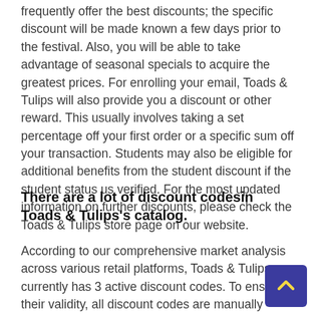frequently offer the best discounts; the specific discount will be made known a few days prior to the festival. Also, you will be able to take advantage of seasonal specials to acquire the greatest prices. For enrolling your email, Toads & Tulips will also provide you a discount or other reward. This usually involves taking a set percentage off your first order or a specific sum off your transaction. Students may also be eligible for additional benefits from the student discount if the student status us verified. For the most updated information on further discounts, please check the Toads & Tulips store page on our website.
There are a lot of discount codesin Toads & Tulips's catalog.
According to our comprehensive market analysis across various retail platforms, Toads & Tulips currently has 3 active discount codes. To ensure their validity, all discount codes are manually verified.